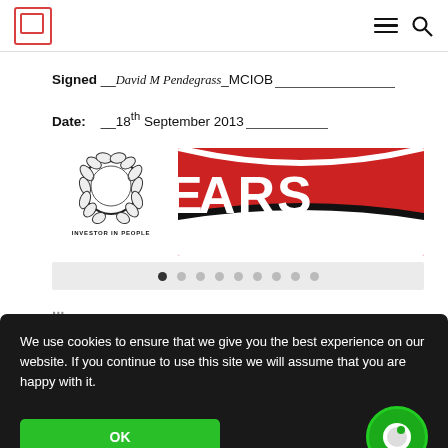[Website navigation bar with logo, hamburger menu, and search icon]
Signed __David M Pendegrass_MCIOB__________________________
Date:   __18th September 2013__________________________
[Figure (logo): Investor in People circular laurel wreath logo with text 'INVESTOR IN PEOPLE' below]
[Figure (logo): Partial red and white BEARS logo/banner]
[Figure (other): Carousel navigation dots, first dot filled/active, followed by 8 empty dots]
...
We use cookies to ensure that we give you the best experience on our website. If you continue to use this site we will assume that you are happy with it.
OK